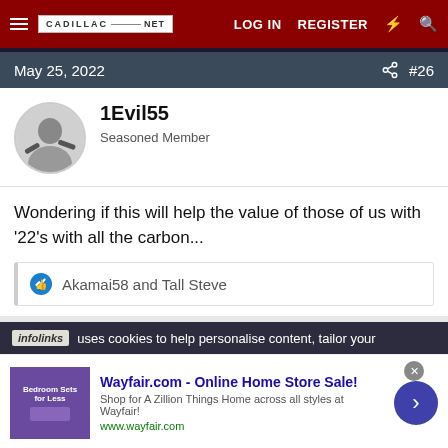CADILLAC-NET  LOG IN  REGISTER
May 25, 2022  #26
1Evil55
Seasoned Member
Wondering if this will help the value of those of us with '22's with all the carbon...
Akamai58 and Tall Steve
infolinks uses cookies to help personalise content, tailor your
[Figure (screenshot): Wayfair.com advertisement banner - Online Home Store Sale!]